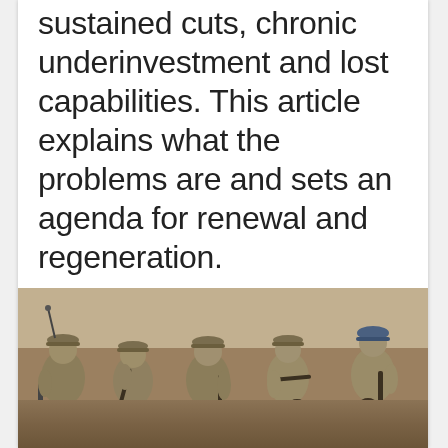cumulative effect of sustained cuts, chronic underinvestment and lost capabilities. This article explains what the problems are and sets an agenda for renewal and regeneration.
[Figure (photo): Military soldiers in desert camouflage uniforms crouching against a wall, armed with rifles and carrying military equipment]